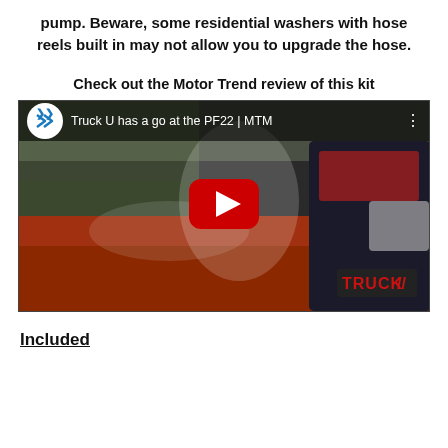pump. Beware, some residential washers with hose reels built in may not allow you to upgrade the hose.
Check out the Motor Trend review of this kit
[Figure (screenshot): YouTube video thumbnail showing a person in a Truck U t-shirt washing a red vehicle. Video title: 'Truck U has a go at the PF22 | MTM'. Shows YouTube play button overlay and Truck U logo in bottom right.]
Included